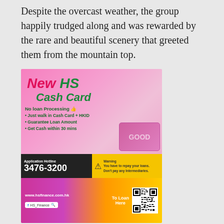Despite the overcast weather, the group happily trudged along and was rewarded by the rare and beautiful scenery that greeted them from the mountain top.
[Figure (illustration): HS Finance & Credit Co., Ltd advertisement for New HS Cash Card. Pink background with cartoon woman. Features: No loan Processing, Just walk in Cash Card + HKID, Guarantee Loan Amount, Get Cash within 30 mins. Application Hotline 3476-3200. Warning: You have to repay your loans. Don't pay any Intermediaries. Website www.hsfinance.com.hk, Facebook HS_Finance, QR code to loan. HS Finance & Credit Co., Ltd logo at bottom.]